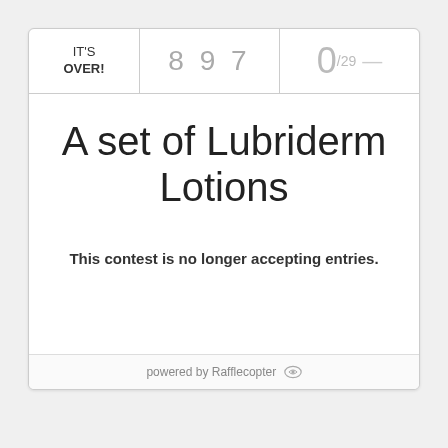IT'S OVER!
897
0/29
A set of Lubriderm Lotions
This contest is no longer accepting entries.
powered by Rafflecopter